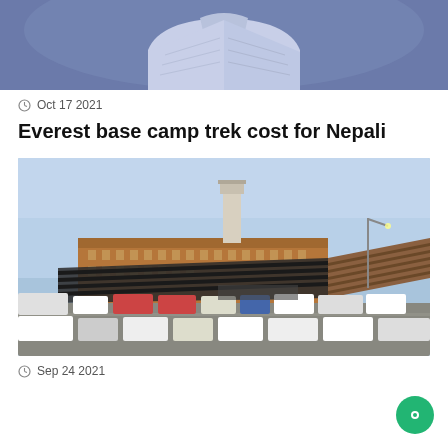[Figure (photo): Partial photo of a person wearing a light grey/blue puffer jacket, cropped to show torso, with a blurred background.]
Oct 17 2021
Everest base camp trek cost for Nepali
[Figure (photo): Photo of an airport terminal building (Tribhuvan International Airport, Kathmandu) with a control tower, parked cars and buses in the foreground, and a clear blue sky.]
Sep 24 2021